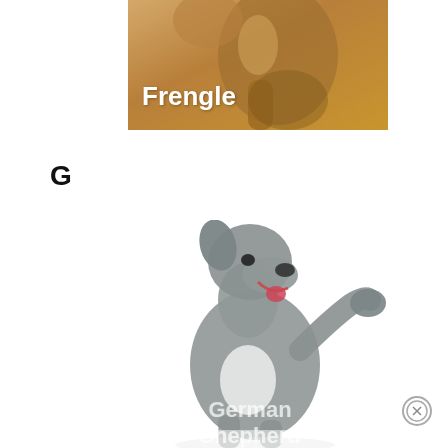[Figure (photo): Photo of a Frengle dog (tan/brown colored) with white bold text overlay reading 'Frengle']
G
[Figure (photo): Photo of a gray German Shepherd dog raising one paw, with semi-transparent white text overlay reading 'German Shepherd' at the bottom]
German Shepherd